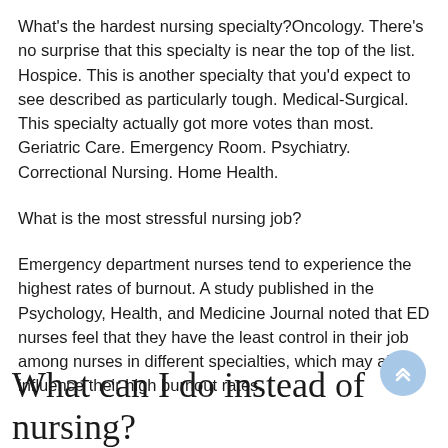What's the hardest nursing specialty?Oncology. There's no surprise that this specialty is near the top of the list. Hospice. This is another specialty that you'd expect to see described as particularly tough. Medical-Surgical. This specialty actually got more votes than most. Geriatric Care. Emergency Room. Psychiatry. Correctional Nursing. Home Health.
What is the most stressful nursing job?
Emergency department nurses tend to experience the highest rates of burnout. A study published in the Psychology, Health, and Medicine Journal noted that ED nurses feel that they have the least control in their job among nurses in different specialties, which may also influence their high burnout rates.
What can I do instead of nursing?